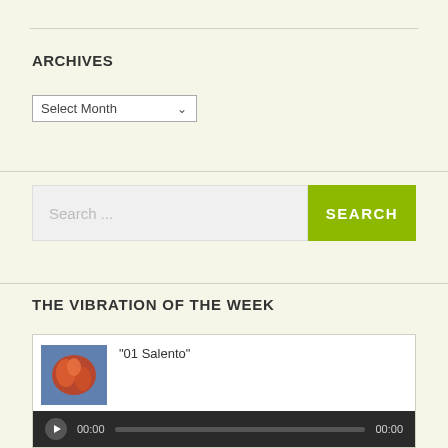ARCHIVES
[Figure (screenshot): Select Month dropdown input]
[Figure (screenshot): Search bar with green SEARCH button]
THE VIBRATION OF THE WEEK
[Figure (screenshot): Media player widget showing thumbnail image of dancers and audio player controls with title '01 Salento', play button, time 00:00, progress bar, and end time 00:00]